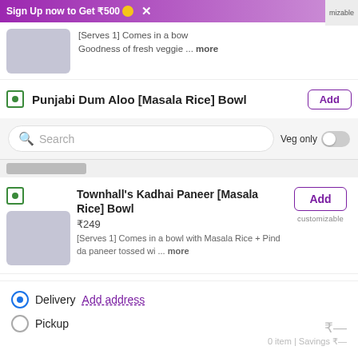[Figure (screenshot): Promotional banner: Sign Up now to Get ₹500 with coin emoji and X close button]
[Serves 1] Comes in a bow Goodness of fresh veggie ... more
Punjabi Dum Aloo [Masala Rice] Bowl
[Figure (screenshot): Search bar with purple search icon and placeholder text 'Search', with Veg only toggle on the right]
Townhall's Kadhai Paneer [Masala Rice] Bowl
₹249
[Serves 1] Comes in a bowl with Masala Rice + Pind da paneer tossed wi ... more
Jalandhari Mushroom Masala [Masala Rice] Bowl
₹249
[Serves 1] Comes in a bowl with Masala Rice + Fresh earthy mushrooms s ... more
Lucky Da Malai Kofta [Masala Rice] Bowl
₹249
[Serves 1] Comes in a bowl with Masala Rice + Soft malai koftas cooked ... more
Delivery  Add address
Pickup
₹-- 0 item | Savings ₹--